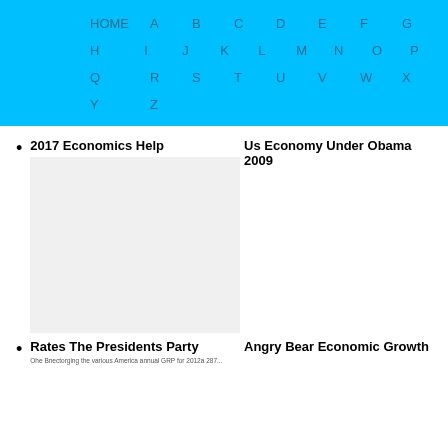HOME A B C D E F G H I J K L M N O P Q R S T U V W X Y Z
2017 Economics Help
Us Economy Under Obama 2009
Rates The Presidents Party
Angry Bear Economic Growth